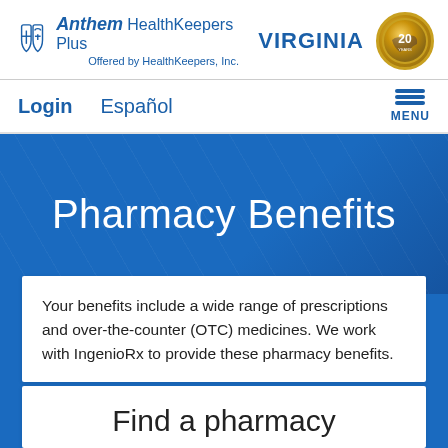[Figure (logo): Anthem HealthKeepers Plus logo with Blue Cross Blue Shield shields, 'Offered by HealthKeepers, Inc.' subtitle, VIRGINIA text, and 20-year anniversary gold badge]
Login   Español
Pharmacy Benefits
Your benefits include a wide range of prescriptions and over-the-counter (OTC) medicines. We work with IngenioRx to provide these pharmacy benefits.
Find a pharmacy